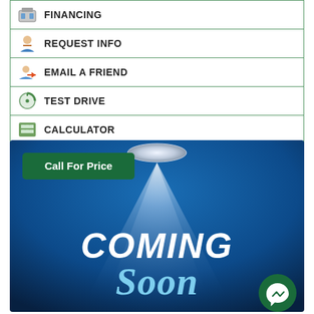FINANCING
REQUEST INFO
EMAIL A FRIEND
TEST DRIVE
CALCULATOR
Share
[Figure (screenshot): Coming Soon promotional image with a spotlight beam on a dark blue gradient background. Text reads COMING Soon. A green Call For Price badge is in the top left. A green Messenger icon button is in the bottom right.]